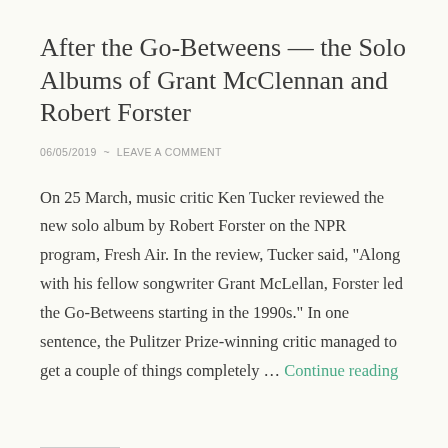After the Go-Betweens — the Solo Albums of Grant McClennan and Robert Forster
06/05/2019 ~ LEAVE A COMMENT
On 25 March, music critic Ken Tucker reviewed the new solo album by Robert Forster on the NPR program, Fresh Air. In the review, Tucker said, "Along with his fellow songwriter Grant McLellan, Forster led the Go-Betweens starting in the 1990s." In one sentence, the Pulitzer Prize-winning critic managed to get a couple of things completely … Continue reading